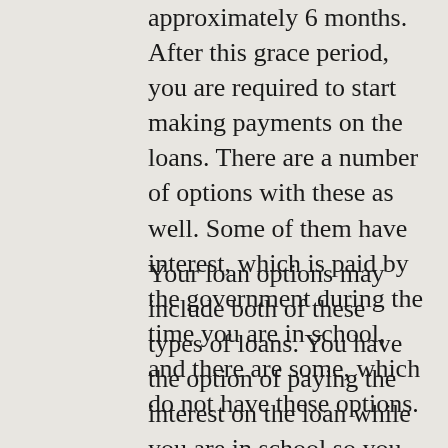approximately 6 months. After this grace period, you are required to start making payments on the loans. There are a number of options with these as well. Some of them have interest, which is paid by the government during the time you are in school, and there are some, which do not have these options.
Your loan options may include both of these types of loans. You have the option of paying the interest on the loan while you are in school so you do not have an increase in principle balance or you can defer the interest and have it added to your loan.